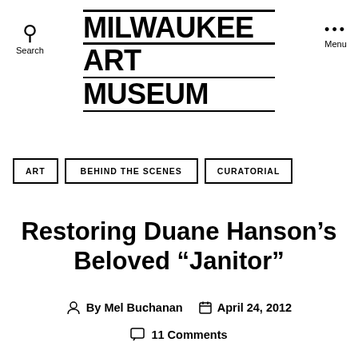MILWAUKEE ART MUSEUM
ART
BEHIND THE SCENES
CURATORIAL
Restoring Duane Hanson’s Beloved “Janitor”
By Mel Buchanan  April 24, 2012  11 Comments